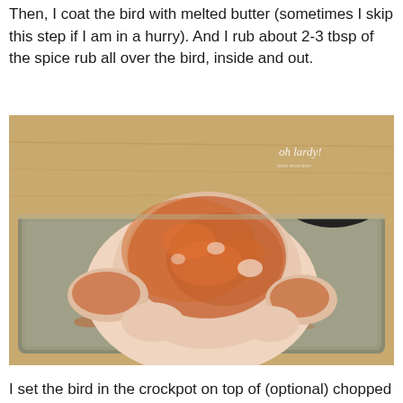Then, I coat the bird with melted butter (sometimes I skip this step if I am in a hurry).  And I rub about 2-3 tbsp of the spice rub all over the bird, inside and out.
[Figure (photo): A raw whole chicken coated with orange-red spice rub, sitting on a metal baking tray on a wooden surface. A dark slow cooker is visible in the background. Watermark reads 'oh lardy!' in the upper right corner.]
I set the bird in the crockpot on top of (optional) chopped